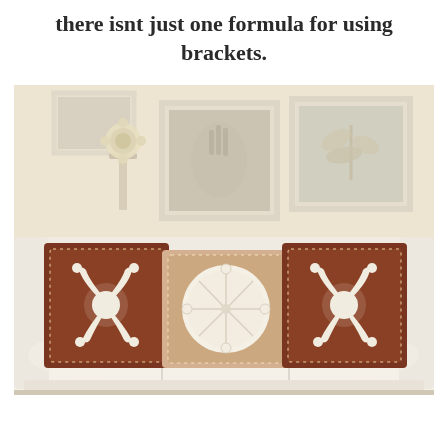there isnt just one formula for using brackets.
[Figure (photo): A coastal-styled living room with a cream sofa. Three decorative pillows sit on the sofa: two dark brown pillows with white starfish/octopus appliques on the sides, and a tan/blush pillow with a white sand dollar design in the center. Above the sofa on a cream wall hang several white-framed artworks featuring natural motifs (coral, sea life, botanical), plus a wall sconce with a shell/flower decoration.]